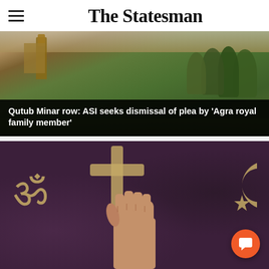The Statesman
[Figure (photo): Aerial/wide-angle photo of Qutub Minar complex with green trees and historic red sandstone buildings]
Qutub Minar row: ASI seeks dismissal of plea by 'Agra royal family member'
[Figure (photo): Dark purple background with religious symbols: Om (Hindu), Christian cross, Islamic crescent and star, and a raised human fist in the center. Orange chat button overlay in bottom right.]